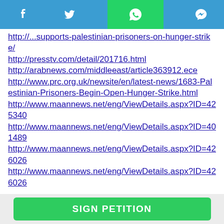Social share bar with Facebook, Twitter, WhatsApp, Messenger icons
http://...supports-palestinian-prisoners-on-hunger-strike/
http://presstv.com/detail/201716.html
http://arabnews.com/middleeast/article363912.ece
http://www.prc.org.uk/newsite/en/latest-news/1683-Palestinian-Prisoners-Begin-Open-Hunger-Strike.html
http://www.maannews.net/eng/ViewDetails.aspx?ID=425340
http://www.maannews.net/eng/ViewDetails.aspx?ID=401489
http://www.maannews.net/eng/ViewDetails.aspx?ID=426026
http://www.maannews.net/eng/ViewDetails.aspx?ID=426026
SIGN PETITION